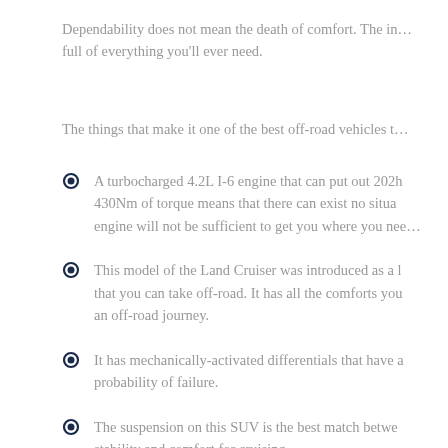Dependability does not mean the death of comfort. The interior is full of everything you'll ever need.
The things that make it one of the best off-road vehicles t…
A turbocharged 4.2L I-6 engine that can put out 202h… 430Nm of torque means that there can exist no situa… engine will not be sufficient to get you where you nee…
This model of the Land Cruiser was introduced as a l… that you can take off-road. It has all the comforts you… an off-road journey.
It has mechanically-activated differentials that have a… probability of failure.
The suspension on this SUV is the best match betwe… stability and comfort for cruising.
It is one of the cars that are very cheap to repair.